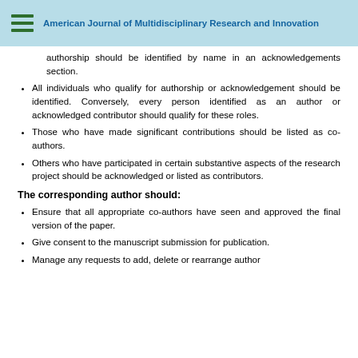American Journal of Multidisciplinary Research and Innovation
authorship should be identified by name in an acknowledgements section.
All individuals who qualify for authorship or acknowledgement should be identified. Conversely, every person identified as an author or acknowledged contributor should qualify for these roles.
Those who have made significant contributions should be listed as co-authors.
Others who have participated in certain substantive aspects of the research project should be acknowledged or listed as contributors.
The corresponding author should:
Ensure that all appropriate co-authors have seen and approved the final version of the paper.
Give consent to the manuscript submission for publication.
Manage any requests to add, delete or rearrange author